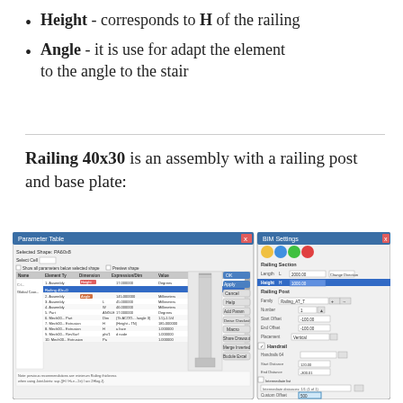Height - corresponds to H of the railing
Angle - it is use for adapt the element to the angle to the stair
Railing 40x30 is an assembly with a railing post and base plate:
[Figure (screenshot): Screenshot of a Parameter Table dialog box showing assembly parameters for Railing 40x30, alongside a BIM/CAD settings panel showing railing properties including Height H=1000.00, and a 3D view of a railing post element.]